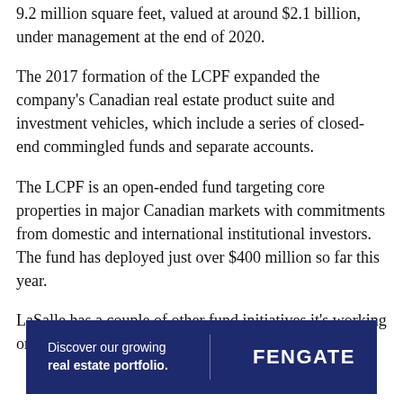9.2 million square feet, valued at around $2.1 billion, under management at the end of 2020.
The 2017 formation of the LCPF expanded the company's Canadian real estate product suite and investment vehicles, which include a series of closed-end commingled funds and separate accounts.
The LCPF is an open-ended fund targeting core properties in major Canadian markets with commitments from domestic and international institutional investors. The fund has deployed just over $400 million so far this year.
LaSalle has a couple of other fund initiatives it's working on that McKinlay hopes will come to life in the fall.
[Figure (other): Advertisement banner for Fengate: 'Discover our growing real estate portfolio.' with Fengate logo on dark navy background.]